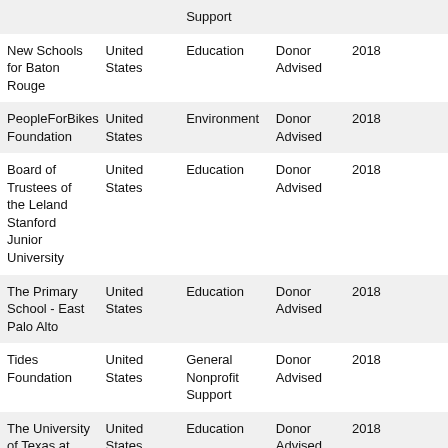|  |  | Support |  |  |  |
| --- | --- | --- | --- | --- | --- |
| New Schools for Baton Rouge | United States | Education | Donor Advised | 2018 |  |
| PeopleForBikes Foundation | United States | Environment | Donor Advised | 2018 |  |
| Board of Trustees of the Leland Stanford Junior University | United States | Education | Donor Advised | 2018 |  |
| The Primary School - East Palo Alto | United States | Education | Donor Advised | 2018 |  |
| Tides Foundation | United States | General Nonprofit Support | Donor Advised | 2018 |  |
| The University of Texas at Austin | United States | Education | Donor Advised | 2018 |  |
| Total SUM |  |  |  |  | $ |